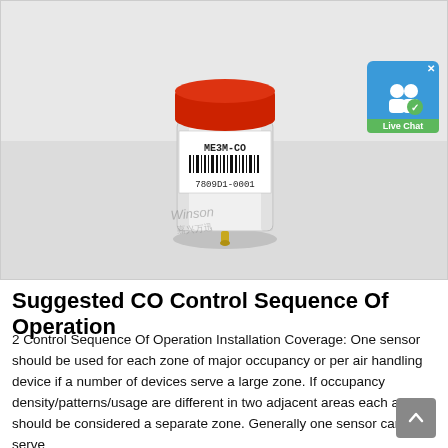[Figure (photo): A cylindrical CO gas sensor component labeled ME3M-CO with barcode 7809D1-0001, featuring a red cap on top and a small gold pin at the bottom, photographed on a white/light gray background. A Live Chat badge overlay appears in the upper right corner.]
Suggested CO Control Sequence Of Operation
2 Control Sequence Of Operation Installation Coverage: One sensor should be used for each zone of major occupancy or per air handling device if a number of devices serve a large zone. If occupancy density/patterns/usage are different in two adjacent areas each area should be considered a separate zone. Generally one sensor can serve